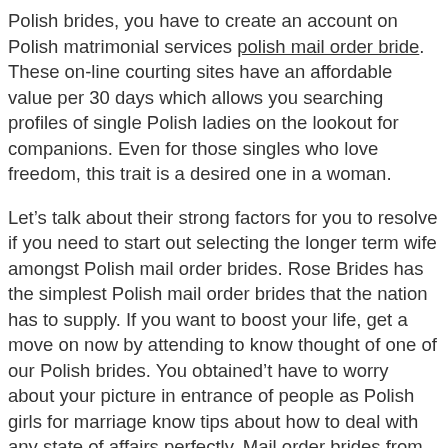Polish brides, you have to create an account on Polish matrimonial services polish mail order bride. These on-line courting sites have an affordable value per 30 days which allows you searching profiles of single Polish ladies on the lookout for companions. Even for those singles who love freedom, this trait is a desired one in a woman.
Let’s talk about their strong factors for you to resolve if you need to start out selecting the longer term wife amongst Polish mail order brides. Rose Brides has the simplest Polish mail order brides that the nation has to supply. If you want to boost your life, get a move on now by attending to know thought of one of our Polish brides. You obtained’t have to worry about your picture in entrance of people as Polish girls for marriage know tips about how to deal with any state of affairs perfectly. Mail order brides from Poland are recognized to be numerous essentially the most lovely that the world has to offer. Poland is the country by which the second university in Europe opened. This historic fact displays the academic level of the Polish society.
And as members of society, they’re quite successful and try to make